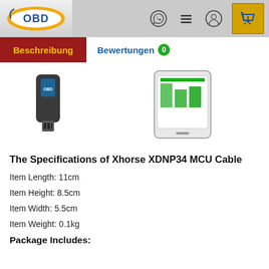[Figure (logo): OBD logo with orange oval background and blue OBD text]
[Figure (screenshot): Navigation bar with WhatsApp icon, hamburger menu, user icon, and shopping cart icon with gold border]
Beschreibung
Bewertungen 0
[Figure (photo): Two product images: left shows a small OBD dongle device, right shows a smartphone screen with a diagnostic app interface]
The Specifications of Xhorse XDNP34 MCU Cable
Item Length: 11cm
Item Height: 8.5cm
Item Width: 5.5cm
Item Weight: 0.1kg
Package Includes: